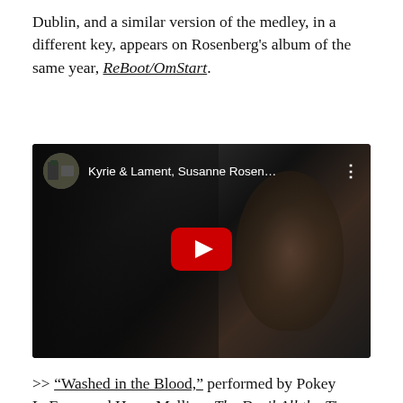Dublin, and a similar version of the medley, in a different key, appears on Rosenberg's album of the same year, ReBoot/OmStart.
[Figure (screenshot): YouTube video embed showing 'Kyrie & Lament, Susanne Rosen...' with a play button in the center, dark background with a performer's face visible, thumbnail circle in top left]
>> “Washed in the Blood,” performed by Pokey LaFarge and Harry Melling: The Devil All the Time (2020) isn’t a great movie, but it has a